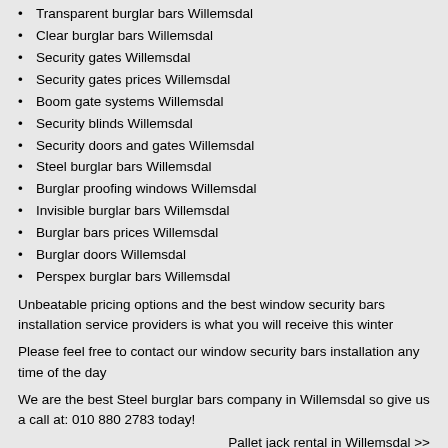Transparent burglar bars Willemsdal
Clear burglar bars Willemsdal
Security gates Willemsdal
Security gates prices Willemsdal
Boom gate systems Willemsdal
Security blinds Willemsdal
Security doors and gates Willemsdal
Steel burglar bars Willemsdal
Burglar proofing windows Willemsdal
Invisible burglar bars Willemsdal
Burglar bars prices Willemsdal
Burglar doors Willemsdal
Perspex burglar bars Willemsdal
Unbeatable pricing options and the best window security bars installation service providers is what you will receive this winter
Please feel free to contact our window security bars installation any time of the day
We are the best Steel burglar bars company in Willemsdal so give us a call at: 010 880 2783 today!
Pallet jack rental in Willemsdal >>
-> Steel burglar bars in Weltevredenpark
-> Steel burglar bars in Valley View Estate